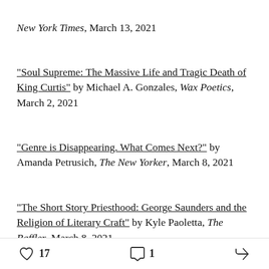New York Times, March 13, 2021
“Soul Supreme: The Massive Life and Tragic Death of King Curtis” by Michael A. Gonzales, Wax Poetics, March 2, 2021
“Genre is Disappearing. What Comes Next?” by Amanda Petrusich, The New Yorker, March 8, 2021
“The Short Story Priesthood: George Saunders and the Religion of Literary Craft” by Kyle Paoletta, The Baffler, March 8, 2021
“Bandcamp: The Chaos Bazaar” by Chris Golinski, Components One, March 23, 2021
17 likes  1 comment  share